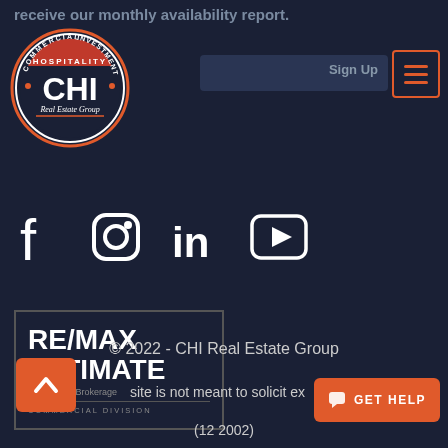receive our monthly availability report.
[Figure (logo): CHI Real Estate Group circular logo with HOSPITALITY COMMERCIAL INVESTMENT text around the rim and CHI in large letters, with 'Real Estate Group' below in script]
[Figure (screenshot): Sign Up button area - dark input field with Sign Up button]
[Figure (other): Hamburger menu icon with orange border]
[Figure (infographic): Social media icons row: Facebook, Instagram, LinkedIn, YouTube in white on dark background]
[Figure (logo): RE/MAX ULTIMATE Realty Inc., Brokerage COMMERCIAL DIVISION logo in a dark bordered box]
© 2022 - CHI Real Estate Group
site is not meant to solicit ex
(12 2002)